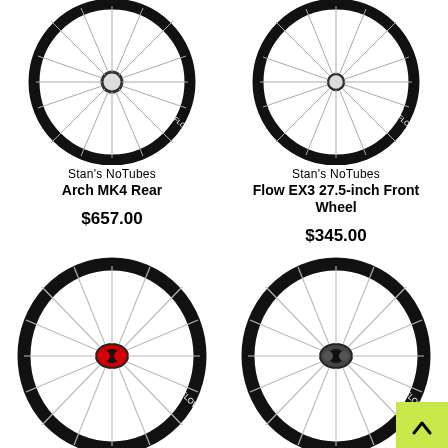[Figure (photo): Black bicycle wheel (Stan's NoTubes Arch MK4 Rear) viewed from front, spokes visible, dark rim, top-left quadrant]
Stan's NoTubes
Arch MK4 Rear
$657.00
[Figure (photo): Black bicycle wheel (Stan's NoTubes Flow EX3 27.5-inch Front Wheel) viewed from front, spokes visible, dark rim, top-right quadrant]
Stan's NoTubes
Flow EX3 27.5-inch Front Wheel
$345.00
[Figure (photo): Black bicycle wheel with red/black hub, spokes visible, dark rim with logo, bottom-left quadrant]
[Figure (photo): Black bicycle wheel with dark hub, spokes visible, dark rim with logo, bottom-right quadrant]